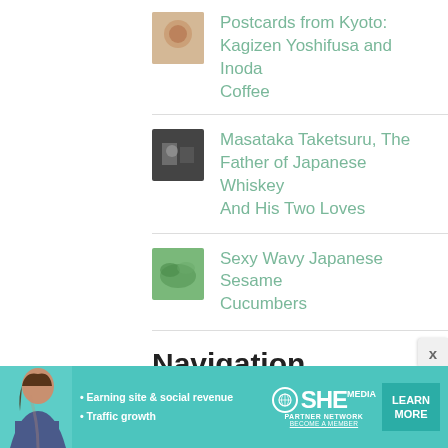Postcards from Kyoto: Kagizen Yoshifusa and Inoda Coffee
Masataka Taketsuru, The Father of Japanese Whiskey And His Two Loves
Sexy Wavy Japanese Sesame Cucumbers
Navigation
[Figure (infographic): SHE Media Partner Network advertisement banner with a woman, bullet points about earning site & social revenue and traffic growth, SHE Media logo, and a Learn More button]